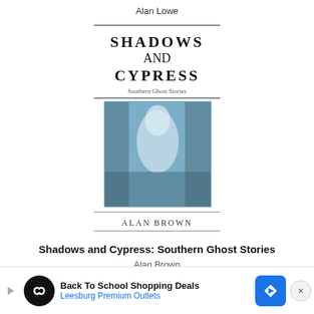Alan Lowe
[Figure (illustration): Book cover for 'Shadows and Cypress: Southern Ghost Stories' by Alan Brown. White text title on dark background with blue-toned ghostly figure image.]
Shadows and Cypress: Southern Ghost Stories
Alan Brown
[Figure (photo): Sepia-toned historical photo of the Crescent Hotel building in Eureka Springs, Arkansas. Large Victorian-style hotel with turrets and chimneys. Badge showing '0' in top right corner.]
Crescent Hotel
Eureka Springs, Arkansas
69.8 miles from Alma, AR
One of the most well-known haunted hotels in America, the Crescent Hotel's history d... nd hau... nt has...
[Figure (infographic): Advertisement bar at bottom: 'Back To School Shopping Deals' from Leesburg Premium Outlets with navigation arrow icon and close button.]